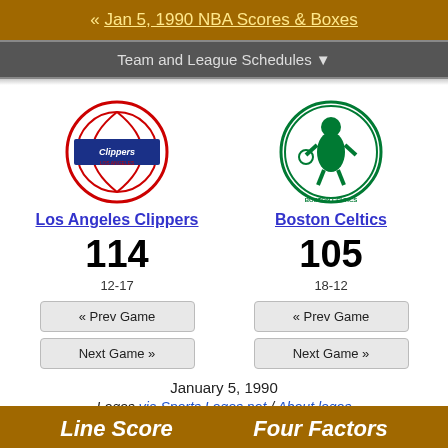« Jan 5, 1990 NBA Scores & Boxes
Team and League Schedules ▼
[Figure (logo): Los Angeles Clippers logo]
Los Angeles Clippers
114
12-17
[Figure (logo): Boston Celtics logo]
Boston Celtics
105
18-12
« Prev Game
Next Game »
« Prev Game
Next Game »
January 5, 1990
Logos via Sports Logos.net / About logos
Line Score
Four Factors